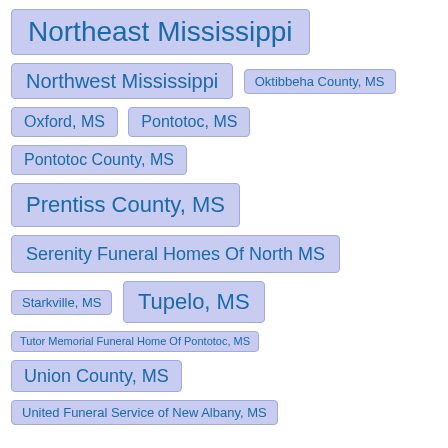Northeast Mississippi
Northwest Mississippi
Oktibbeha County, MS
Oxford, MS
Pontotoc, MS
Pontotoc County, MS
Prentiss County, MS
Serenity Funeral Homes Of North MS
Starkville, MS
Tupelo, MS
Tutor Memorial Funeral Home Of Pontotoc, MS
Union County, MS
United Funeral Service of New Albany, MS